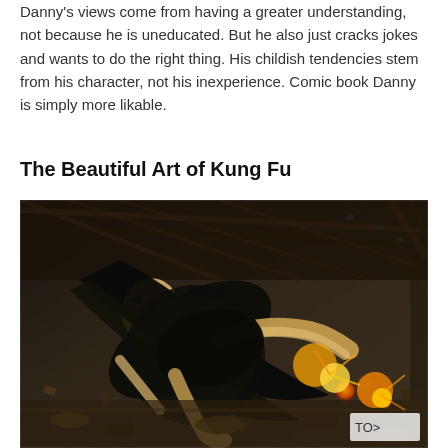Danny's views come from having a greater understanding, not because he is uneducated. But he also just cracks jokes and wants to do the right thing. His childish tendencies stem from his character, not his inexperience. Comic book Danny is simply more likable.
The Beautiful Art of Kung Fu
[Figure (illustration): Comic book illustration showing a martial arts action scene with a figure in dark clothing performing a kung fu move amid explosions, debris, and dynamic visual effects in a dark, gritty art style with orange and dark gold coloring.]